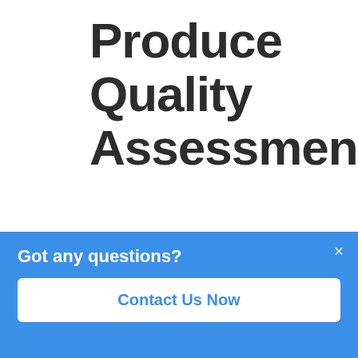Produce Quality Assessment
By Intellolabs on Aug 11, 2020 3:03:54 PM
[Figure (photo): Two people inspecting produce in a field or orchard, viewed from below against a bright sky with trees.]
Got any questions?
Contact Us Now